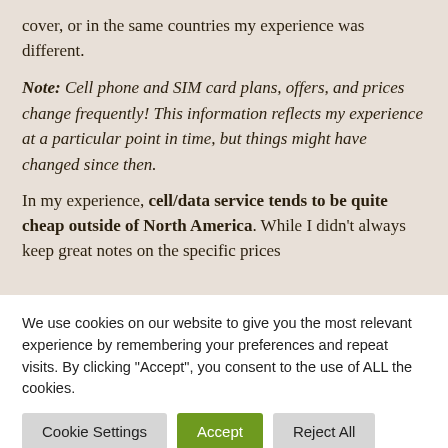cover, or in the same countries my experience was different.
Note: Cell phone and SIM card plans, offers, and prices change frequently! This information reflects my experience at a particular point in time, but things might have changed since then.
In my experience, cell/data service tends to be quite cheap outside of North America. While I didn't always keep great notes on the specific prices
We use cookies on our website to give you the most relevant experience by remembering your preferences and repeat visits. By clicking “Accept”, you consent to the use of ALL the cookies.